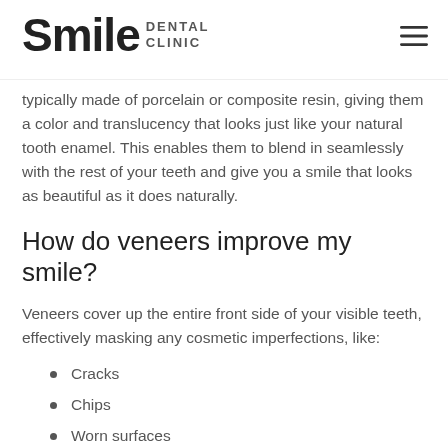Smile Dental Clinic
typically made of porcelain or composite resin, giving them a color and translucency that looks just like your natural tooth enamel. This enables them to blend in seamlessly with the rest of your teeth and give you a smile that looks as beautiful as it does naturally.
How do veneers improve my smile?
Veneers cover up the entire front side of your visible teeth, effectively masking any cosmetic imperfections, like:
Cracks
Chips
Worn surfaces